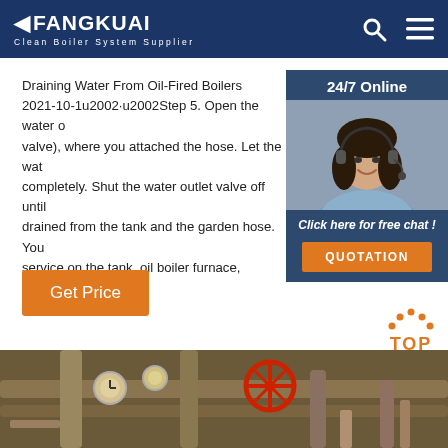FANGKUAI Clean Boiler System Supplier
[Figure (photo): Customer service agent woman with headset smiling, inside a dark blue sidebar widget with '24/7 Online' label, 'Click here for free chat!' text, and orange QUOTATION button]
Draining Water From Oil-Fired Boilers 2021-10-1u2002·u2002Step 5. Open the water o valve), where you attached the hose. Let the wat completely. Shut the water outlet valve off until drained from the tank and the garden hose. You service on the tank, oil boiler furnace, plumbing radiators.
[Figure (photo): Industrial boiler pipe system with red valve wheel, pressure gauges, and metal pipes]
Get Price